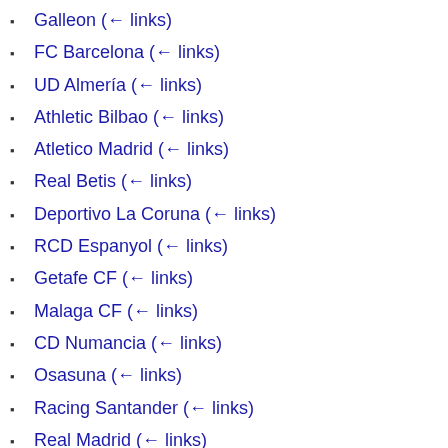Galleon  (← links)
FC Barcelona  (← links)
UD Almería  (← links)
Athletic Bilbao  (← links)
Atletico Madrid  (← links)
Real Betis  (← links)
Deportivo La Coruna  (← links)
RCD Espanyol  (← links)
Getafe CF  (← links)
Malaga CF  (← links)
CD Numancia  (← links)
Osasuna  (← links)
Racing Santander  (← links)
Real Madrid  (← links)
Recreativo de Huelva  (← links)
Sevilla  (← links)
Sporting de Gijon  (← links)